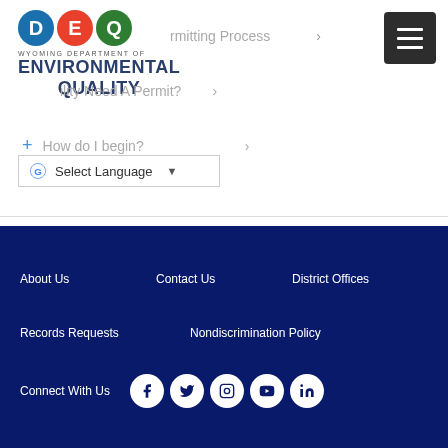[Figure (logo): Wyoming Department of Environmental Quality (DEQ) logo with colored circles for D, E, Q letters]
rmitting Process
ility Need A Permit?
How do I begin?
Select Language
About Us
Contact Us
District Offices
Records Requests
Nondiscrimination Policy
Connect With Us